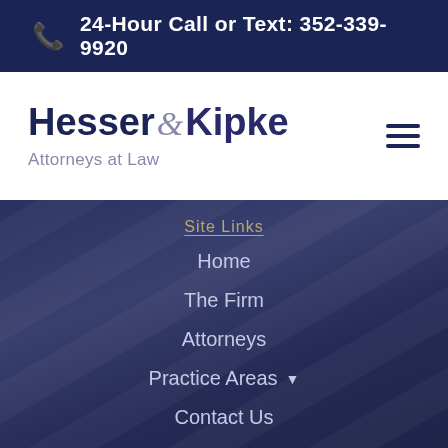24-Hour Call or Text: 352-339-9920
[Figure (logo): Hesser & Kipke Attorneys at Law logo with dark blue text for Hesser and Kipke, gray ampersand]
Site Links
Home
The Firm
Attorneys
Practice Areas
Contact Us